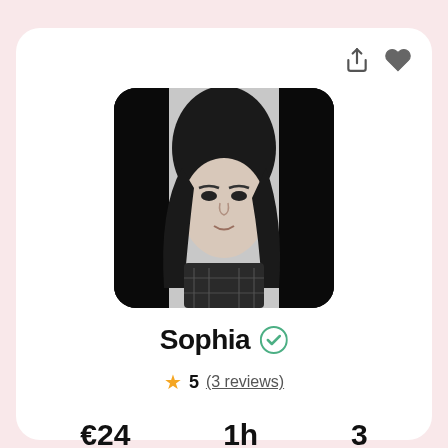[Figure (photo): Black and white profile photo of a young woman named Sophia with long dark hair, wearing a plaid shirt, shown from shoulders up]
Sophia ✓
★ 5 (3 reviews)
€24  1h  3